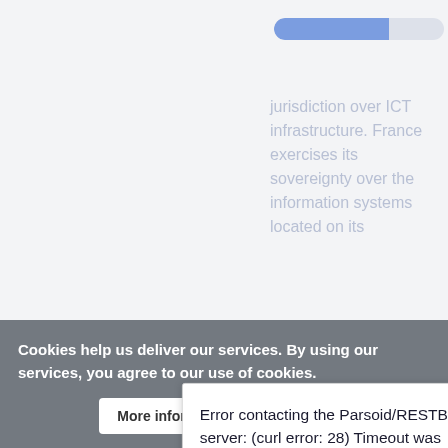[Figure (screenshot): Blurred/faded background showing a Wikipedia-style article page with a progress bar and partially visible text about jurisdiction over ICT infrastructure and France's sovereignty over information systems.]
[Figure (screenshot): Error dialog box overlaid on the page. Contains message: 'Error contacting the Parsoid/RESTBase server: (curl error: 28) Timeout was reached'. Two buttons: 'Cancel' on the left and 'Try again' on the right (highlighted with blue border).]
Cookies help us deliver our services. By using our services, you agree to our use of cookies.